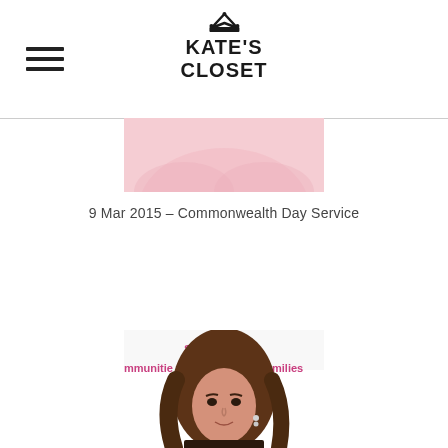KATE'S CLOSET
[Figure (photo): Partial photo showing a light pink background, top of page]
9 Mar 2015 – Commonwealth Day Service
[Figure (photo): Portrait photo of Kate Middleton at an event, with a banner showing 'services', 'mmunities', 'milies' text in background. She is wearing dark clothing with studded details and diamond drop earrings, touching her hair with one hand.]